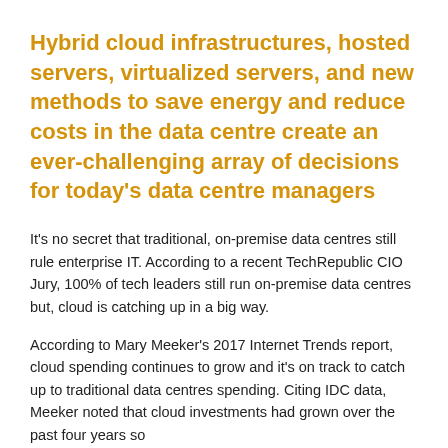Hybrid cloud infrastructures, hosted servers, virtualized servers, and new methods to save energy and reduce costs in the data centre create an ever-challenging array of decisions for today's data centre managers
It's no secret that traditional, on-premise data centres still rule enterprise IT. According to a recent TechRepublic CIO Jury, 100% of tech leaders still run on-premise data centres but, cloud is catching up in a big way.
According to Mary Meeker's 2017 Internet Trends report, cloud spending continues to grow and it's on track to catch up to traditional data centres spending. Citing IDC data, Meeker noted that cloud investments had grown over the past four years so...